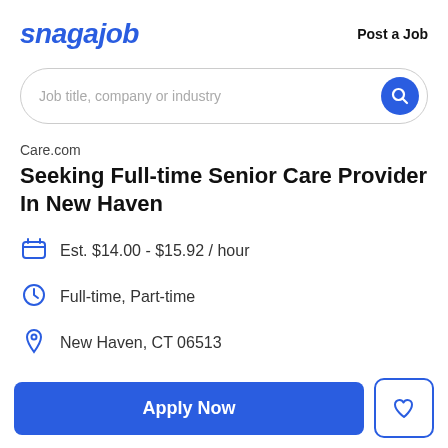snagajob   Post a Job
[Figure (screenshot): Search bar with placeholder text 'Job title, company or industry' and a blue circular search button]
Care.com
Seeking Full-time Senior Care Provider In New Haven
Est. $14.00 - $15.92 / hour
Full-time, Part-time
New Haven, CT 06513
Apply Now